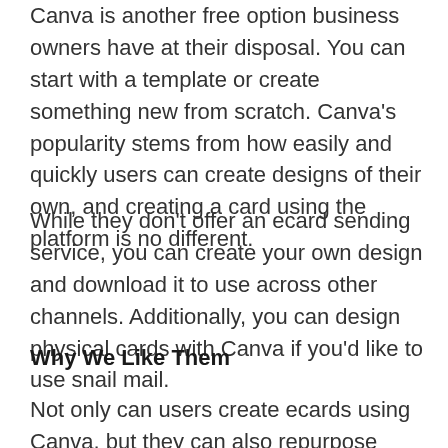Canva is another free option business owners have at their disposal. You can start with a template or create something new from scratch. Canva's popularity stems from how easily and quickly users can create designs of their own, and creating a card using the platform is no different.
While they don't offer an ecard sending service, you can create your own design and download it to use across other channels. Additionally, you can design physical cards with Canva if you'd like to use snail mail.
Why We Like Them
Not only can users create ecards using Canva, but they can also repurpose what they've created into several